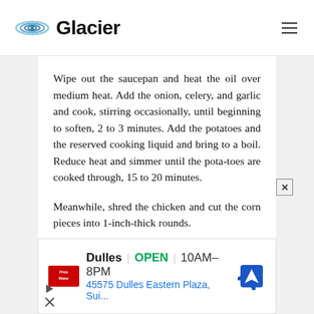Glacier
Wipe out the saucepan and heat the oil over medium heat. Add the onion, celery, and garlic and cook, stirring occasionally, until beginning to soften, 2 to 3 minutes. Add the potatoes and the reserved cooking liquid and bring to a boil. Reduce heat and simmer until the pota-toes are cooked through, 15 to 20 minutes.
Meanwhile, shred the chicken and cut the corn pieces into 1-inch-thick rounds.
[Figure (screenshot): Advertisement for Price Maker store in Dulles, OPEN 10AM-8PM, 45575 Dulles Eastern Plaza, Sui... with navigation icon]